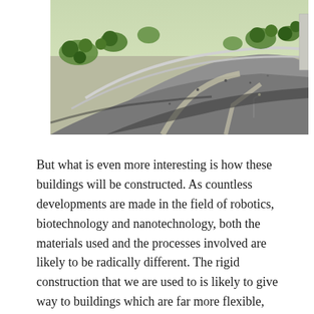[Figure (photo): Aerial architectural rendering of a modern building complex with curved rooflines, surrounding green spaces with trees, pathways, and small human figures. The structure features swooping concrete forms viewed from above.]
But what is even more interesting is how these buildings will be constructed. As countless developments are made in the field of robotics, biotechnology and nanotechnology, both the materials used and the processes involved are likely to be radically different. The rigid construction that we are used to is likely to give way to buildings which are far more flexible, adaptive, and – best of all – built by robots, drones, tiny machines and bacteria cultures.
Once again, this change is due mainly to the